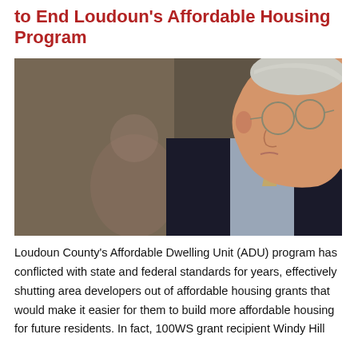to End Loudoun's Affordable Housing Program
[Figure (photo): Side profile of an older man with white/grey hair and glasses, wearing a dark suit jacket and light blue shirt with a tan tie, speaking or gesturing; taken in an indoor setting with a blurred background.]
Loudoun County's Affordable Dwelling Unit (ADU) program has conflicted with state and federal standards for years, effectively shutting area developers out of affordable housing grants that would make it easier for them to build more affordable housing for future residents. In fact, 100WS grant recipient Windy Hill